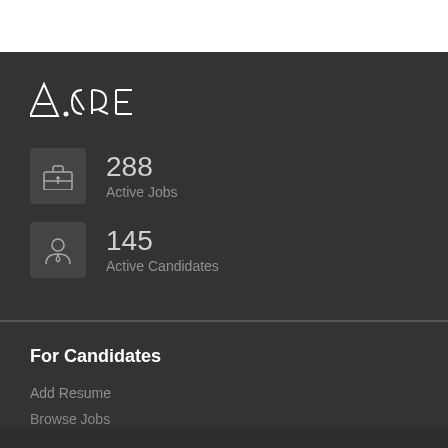[Figure (logo): A.CRE logo in white text on dark background]
288
Active Jobs
145
Active Candidates
For Candidates
Add Resume
Browse Jobs